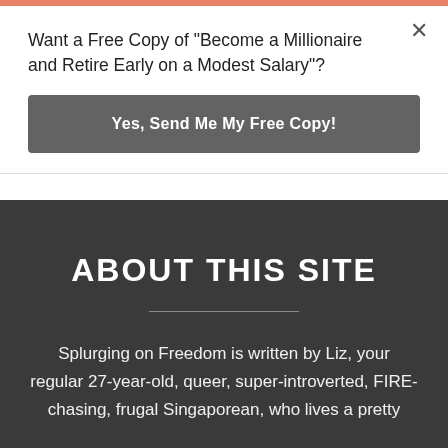Want a Free Copy of "Become a Millionaire and Retire Early on a Modest Salary"?
Yes, Send Me My Free Copy!
ABOUT THIS SITE
Splurging on Freedom is written by Liz, your regular 27-year-old, queer, super-introverted, FIRE-chasing, frugal Singaporean, who lives a pretty